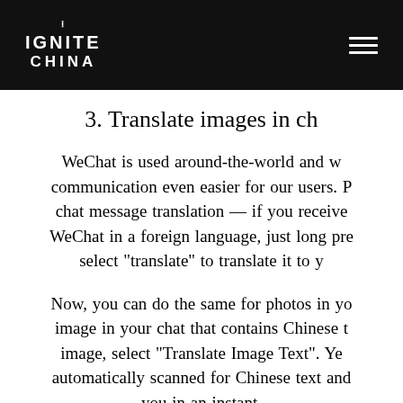IGNITE CHINA
3. Translate images in ch...
WeChat is used around-the-world and w... communication even easier for our users. P... chat message translation — if you receive... WeChat in a foreign language, just long pre... select “translate” to translate it to y...
Now, you can do the same for photos in yo... image in your chat that contains Chinese t... image, select “Translate Image Text”. Ye... automatically scanned for Chinese text and... you in an instant.